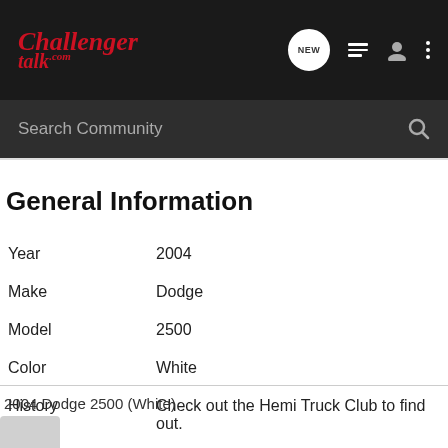Challenger Talk .com — NEW — navigation icons
Search Community
General Information
| Field | Value |
| --- | --- |
| Year | 2004 |
| Make | Dodge |
| Model | 2500 |
| Color | White |
| History | Check out the Hemi Truck Club to find out. |
2004 Dodge 2500 (White)